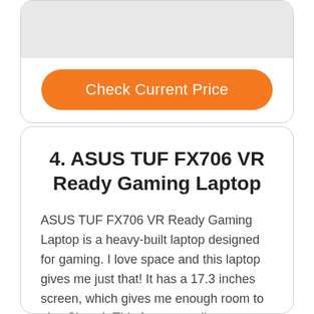[Figure (photo): Product image placeholder (gray rectangle)]
Check Current Price
4. ASUS TUF FX706 VR Ready Gaming Laptop
ASUS TUF FX706 VR Ready Gaming Laptop is a heavy-built laptop designed for gaming. I love space and this laptop gives me just that! It has a 17.3 inches screen, which gives me enough room to play Sims 4. This feature really maximizes